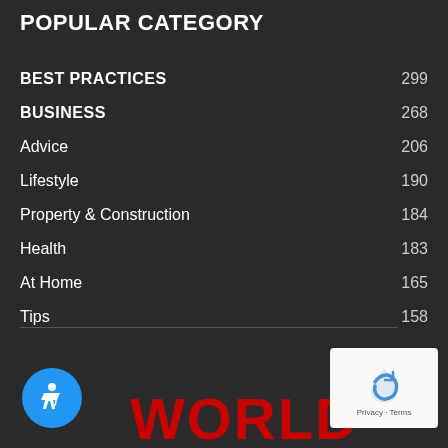POPULAR CATEGORY
BEST PRACTICES  299
BUSINESS  268
Advice  206
Lifestyle  190
Property & Construction  184
Health  183
At Home  165
Tips  158
Technology  143
[Figure (logo): Accessibility icon - blue circle with wheelchair symbol]
WORLD
[Figure (logo): Google reCAPTCHA widget with Privacy and Terms text]